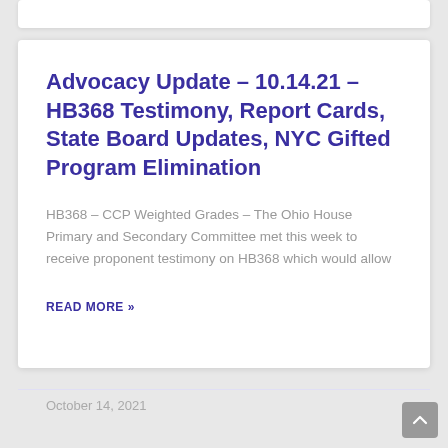Advocacy Update – 10.14.21 – HB368 Testimony, Report Cards, State Board Updates, NYC Gifted Program Elimination
HB368 – CCP Weighted Grades – The Ohio House Primary and Secondary Committee met this week to receive proponent testimony on HB368 which would allow
READ MORE »
October 14, 2021